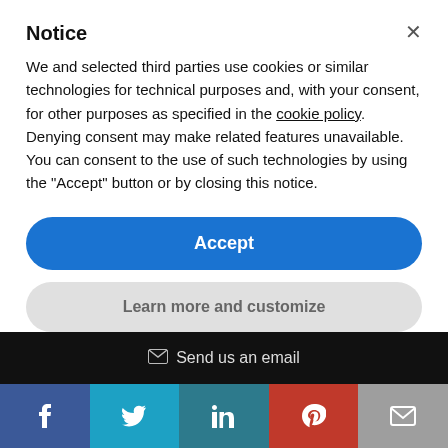Notice
We and selected third parties use cookies or similar technologies for technical purposes and, with your consent, for other purposes as specified in the cookie policy. Denying consent may make related features unavailable. You can consent to the use of such technologies by using the "Accept" button or by closing this notice.
Accept
Learn more and customize
✉ Send us an email
[Figure (screenshot): Social media share buttons: Facebook (blue), Twitter (cyan), LinkedIn (teal), Pinterest (red), Email (gray)]